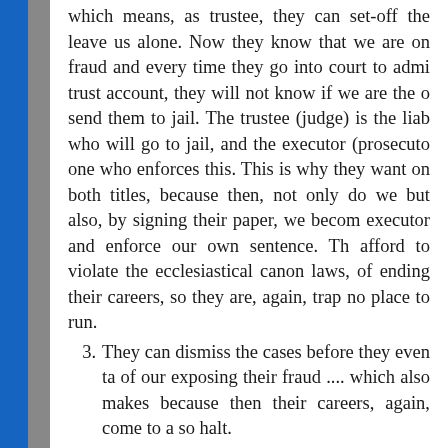which means, as trustee, they can set-off the leave us alone. Now they know that we are on fraud and every time they go into court to admi trust account, they will not know if we are the o send them to jail. The trustee (judge) is the liab who will go to jail, and the executor (prosecuto one who enforces this. This is why they want on both titles, because then, not only do we but also, by signing their paper, we becom executor and enforce our own sentence. Th afford to violate the ecclesiastical canon laws, of ending their careers, so they are, again, trap no place to run.
3. They can dismiss the cases before they even ta of our exposing their fraud .... which also makes because then their careers, again, come to a so halt.
What's a court clerk to do!? Pretty soon, none of thes